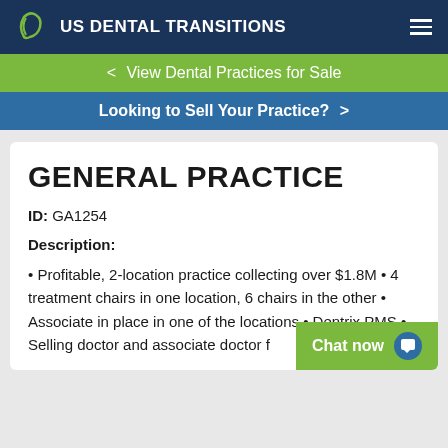US DENTAL TRANSITIONS
< View Dental Practices for Sale
Looking to Sell Your Practice? >
GENERAL PRACTICE
ID: GA1254
Description:
Profitable, 2-location practice collecting over $1.8M • 4 treatment chairs in one location, 6 chairs in the other • Associate in place in one of the locations • Dentrix PMS • Selling doctor and associate doctor f...